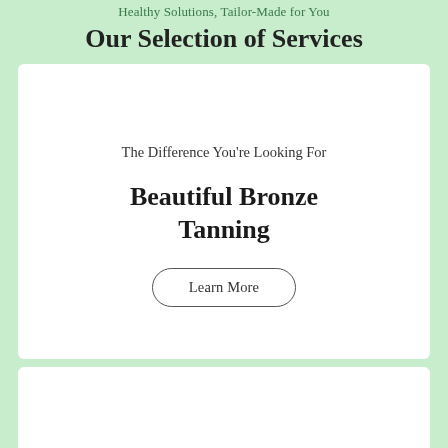Healthy Solutions, Tailor-Made for You
Our Selection of Services
The Difference You're Looking For
Beautiful Bronze Tanning
Learn More